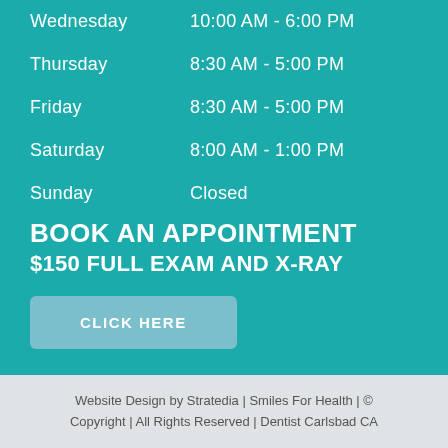| Wednesday | 10:00 AM - 6:00 PM |
| Thursday | 8:30 AM - 5:00 PM |
| Friday | 8:30 AM - 5:00 PM |
| Saturday | 8:00 AM - 1:00 PM |
| Sunday | Closed |
BOOK AN APPOINTMENT
$150 FULL EXAM AND X-RAY
CLICK HERE
Website Design by Stratedia | Smiles For Health | © Copyright | All Rights Reserved | Dentist Carlsbad CA